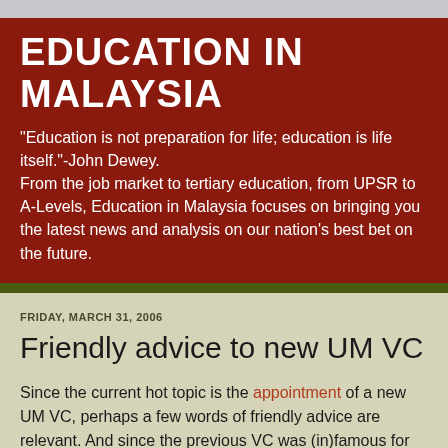EDUCATION IN MALAYSIA
"Education is not preparation for life; education is life itself."-John Dewey.
From the job market to tertiary education, from UPSR to A-Levels, Education in Malaysia focuses on bringing you the latest news and analysis on our nation's best bet on the future.
FRIDAY, MARCH 31, 2006
Friendly advice to new UM VC
Since the current hot topic is the appointment of a new UM VC, perhaps a few words of friendly advice are relevant. And since the previous VC was (in)famous for bragging about the